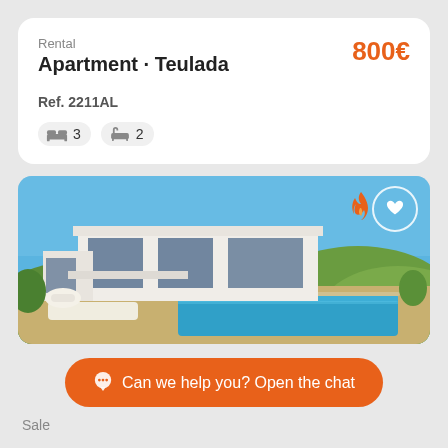Rental
Apartment · Teulada
800€
Ref. 2211AL
3 bedrooms, 2 bathrooms
[Figure (photo): Modern white villa with pool, sun loungers, blue sky, surrounded by green hills]
Can we help you? Open the chat
Sale